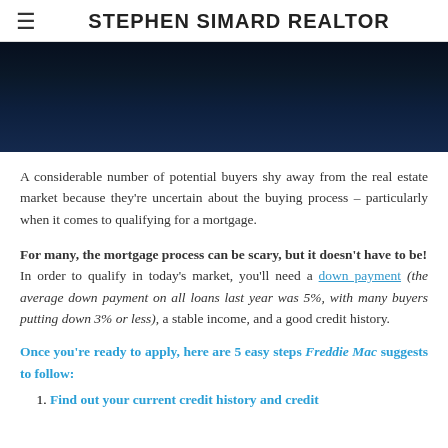STEPHEN SIMARD REALTOR
[Figure (photo): Dark blue-toned hero image at top of page, appears to show a building or real estate scene at night]
A considerable number of potential buyers shy away from the real estate market because they're uncertain about the buying process – particularly when it comes to qualifying for a mortgage.
For many, the mortgage process can be scary, but it doesn't have to be! In order to qualify in today's market, you'll need a down payment (the average down payment on all loans last year was 5%, with many buyers putting down 3% or less), a stable income, and a good credit history.
Once you're ready to apply, here are 5 easy steps Freddie Mac suggests to follow:
Find out your current credit history and credit score.